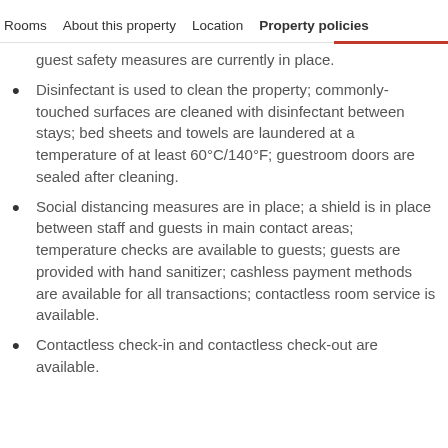Rooms | About this property | Location | Property policies
guest safety measures are currently in place.
Disinfectant is used to clean the property; commonly-touched surfaces are cleaned with disinfectant between stays; bed sheets and towels are laundered at a temperature of at least 60°C/140°F; guestroom doors are sealed after cleaning.
Social distancing measures are in place; a shield is in place between staff and guests in main contact areas; temperature checks are available to guests; guests are provided with hand sanitizer; cashless payment methods are available for all transactions; contactless room service is available.
Contactless check-in and contactless check-out are available.